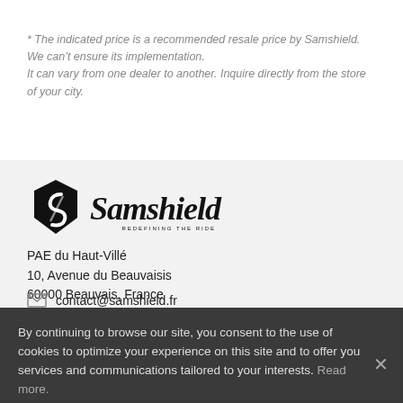* The indicated price is a recommended resale price by Samshield. We can't ensure its implementation. It can vary from one dealer to another. Inquire directly from the store of your city.
[Figure (logo): Samshield logo with shield icon and text 'Samshield — Redefining the Ride']
PAE du Haut-Villé
10, Avenue du Beauvaisis
60000 Beauvais, France
contact@samshield.fr
By continuing to browse our site, you consent to the use of cookies to optimize your experience on this site and to offer you services and communications tailored to your interests. Read more.